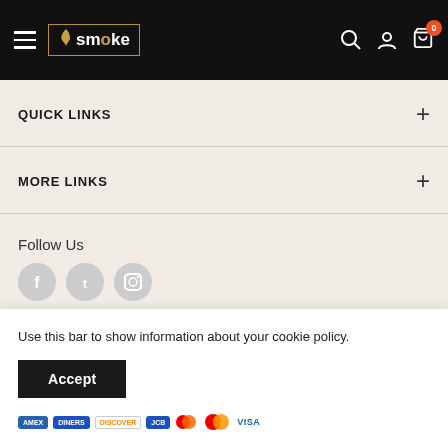Xmoke — navigation header with hamburger menu, logo, search, account, and cart icons
QUICK LINKS
MORE LINKS
Follow Us
Use this bar to show information about your cookie policy.
Accept